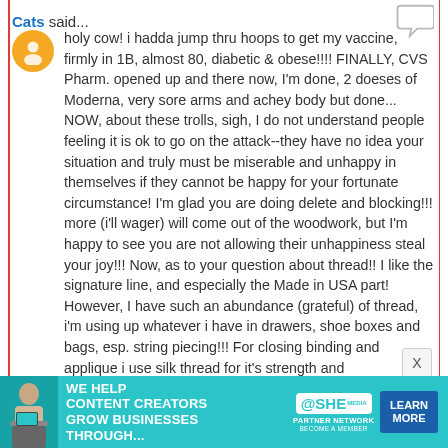Cats said...
holy cow! i hadda jump thru hoops to get my vaccine, firmly in 1B, almost 80, diabetic & obese!!!! FINALLY, CVS Pharm. opened up and there now, I'm done, 2 doeses of Moderna, very sore arms and achey body but done... NOW, about these trolls, sigh, I do not understand people feeling it is ok to go on the attack--they have no idea your situation and truly must be miserable and unhappy in themselves if they cannot be happy for your fortunate circumstance! I'm glad you are doing delete and blocking!!! more (i'll wager) will come out of the woodwork, but I'm happy to see you are not allowing their unhappiness steal your joy!!! Now, as to your question about thread!! I like the signature line, and especially the Made in USA part! However, I have such an abundance (grateful) of thread, i'm using up whatever i have in drawers, shoe boxes and bags, esp. string piecing!!! For closing binding and applique i use silk thread for it's strength and
[Figure (infographic): SHE Media Partner Network advertisement banner: teal background with woman photo, text WE HELP CONTENT CREATORS GROW BUSINESSES THROUGH..., SHE logo, PARTNER NETWORK BECOME A MEMBER, and LEARN MORE button]